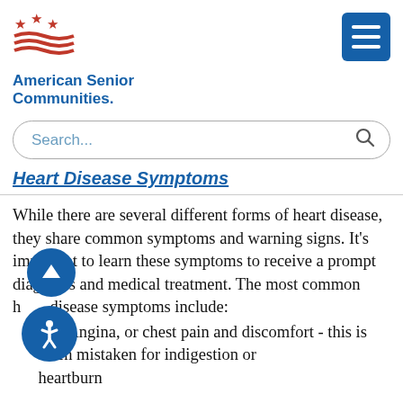[Figure (logo): American Senior Communities logo with red stars and wave stripes, and blue text reading 'American Senior Communities.']
[Figure (other): Blue square hamburger/menu button with three white horizontal lines]
[Figure (other): Search bar with placeholder text 'Search...' and a magnifying glass icon]
Heart Disease Symptoms
While there are several different forms of heart disease, they share common symptoms and warning signs. It’s important to learn these symptoms to receive a prompt diagnosis and medical treatment. The most common heart disease symptoms include:
Angina, or chest pain and discomfort - this is often mistaken for indigestion or heartburn